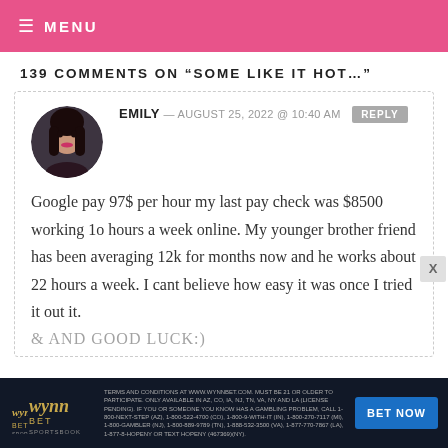≡ MENU
139 COMMENTS ON "SOME LIKE IT HOT..."
[Figure (photo): Circular avatar photo of a young woman with long dark hair]
EMILY — AUGUST 25, 2022 @ 10:40 AM   REPLY
Google pay 97$ per hour my last pay check was $8500 working 1o hours a week online. My younger brother friend has been averaging 12k for months now and he works about 22 hours a week. I cant believe how easy it was once I tried it out it.
& AND GOOD LUCK:)
[Figure (infographic): WynnBET Sportsbook advertisement banner with bet now button]